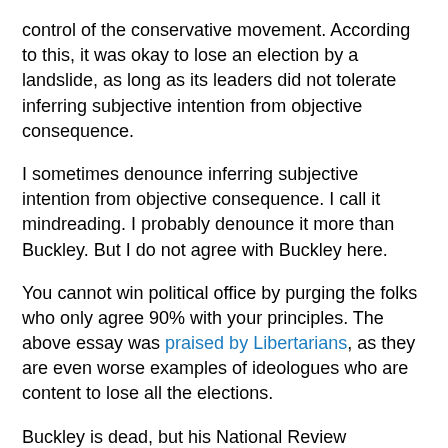control of the conservative movement. According to this, it was okay to lose an election by a landslide, as long as its leaders did not tolerate inferring subjective intention from objective consequence.
I sometimes denounce inferring subjective intention from objective consequence. I call it mindreading. I probably denounce it more than Buckley. But I do not agree with Buckley here.
You cannot win political office by purging the folks who only agree 90% with your principles. The above essay was praised by Libertarians, as they are even worse examples of ideologues who are content to lose all the elections.
Buckley is dead, but his National Review magazine continues his tradition by denouncing Donald Trump. The Left probably regards the magazine as the controlled opposition.
Opposition to the Birch Society has always been a little strange. The Society was primarily known for being anti-Communist in a time in which Communism was genuinely